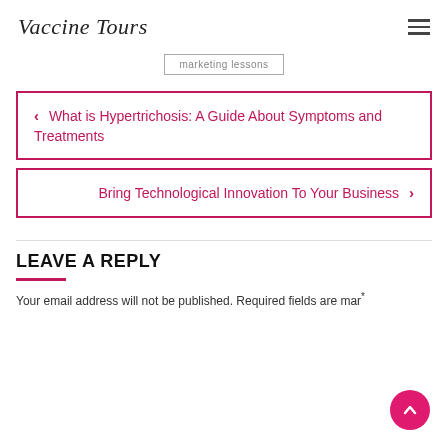Vaccine Tours
marketing lessons
‹ What is Hypertrichosis: A Guide About Symptoms and Treatments
Bring Technological Innovation To Your Business ›
LEAVE A REPLY
Your email address will not be published. Required fields are marked *